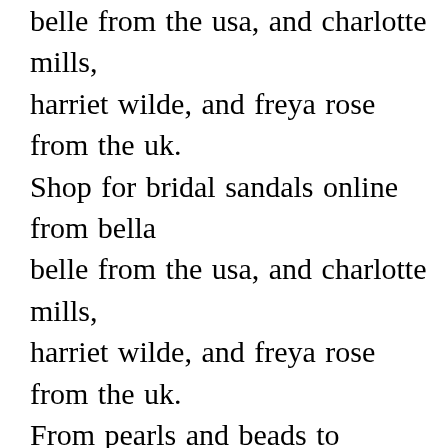belle from the usa, and charlotte mills, harriet wilde, and freya rose from the uk. Shop for bridal sandals online from bella belle from the usa, and charlotte mills, harriet wilde, and freya rose from the uk. From pearls and beads to leather and lace, there's a beautiful pair of sandals listed below for every bride. 4,404 white wedding sandals products are offered for sale by suppliers on alibaba.com, of which women�s sandals accounts for 29%, women�s pumps accounts for 15%, and genuine leather shoes accounts for 1%